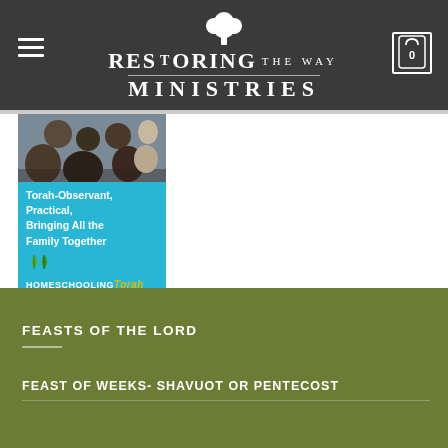[Figure (logo): Restoring The Way Ministries logo with tree icon, white text on dark grey background, hamburger menu on left, cart icon with 0 on right]
[Figure (illustration): Advertisement for HomeschoolingTorah.com showing a photo of people studying and teal/cyan background with text: Torah-Observant, Practical, Bringing All the Family Together, with HomeschoolingTorah.com branding and leaf graphic]
FEASTS OF THE LORD
FEAST OF WEEKS- SHAVUOT OR PENTECOST